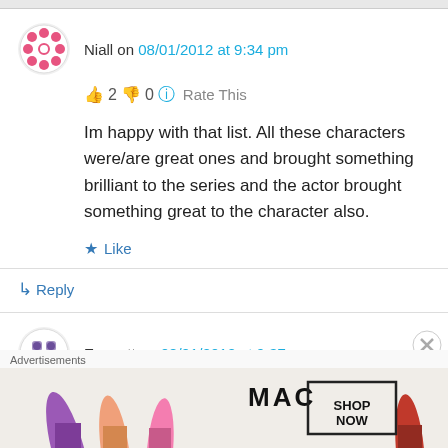Niall on 08/01/2012 at 9:34 pm
👍 2 👎 0 ℹ Rate This
Im happy with that list. All these characters were/are great ones and brought something brilliant to the series and the actor brought something great to the character also.
★ Like
↳ Reply
Emmett on 08/01/2012 at 9:37 pm
Advertisements
[Figure (photo): MAC Cosmetics advertisement showing lipsticks with SHOP NOW text]